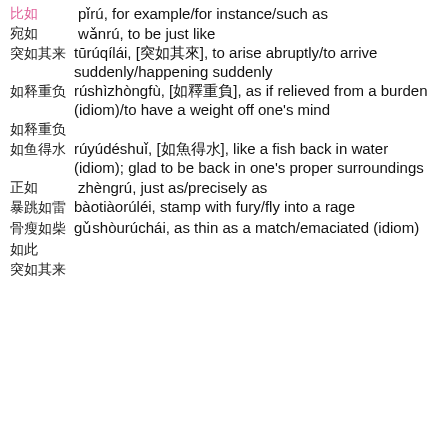比如 pǐrú, for example/for instance/such as
宛如 wǎnrú, to be just like
突如其来 tūrúqílái, [突如其來], to arise abruptly/to arrive suddenly/happening suddenly
如释重负 rúshìzhòngfù, [如釋重負], as if relieved from a burden (idiom)/to have a weight off one's mind
如释重负 (Chinese characters only line)
如鱼得水 rúyúdéshuǐ, [如魚得水], like a fish back in water (idiom); glad to be back in one's proper surroundings
正如 zhèngrú, just as/precisely as
暴跳如雷 bàotiàorúléi, stamp with fury/fly into a rage
骨瘦如柴 gǔshòurúchái, as thin as a match/emaciated (idiom)
如此 (Chinese characters only)
突如其来 (Chinese characters only)